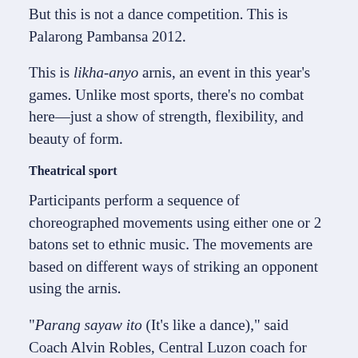But this is not a dance competition. This is Palarong Pambansa 2012.
This is likha-anyo arnis, an event in this year's games. Unlike most sports, there's no combat here—just a show of strength, flexibility, and beauty of form.
Theatrical sport
Participants perform a sequence of choreographed movements using either one or 2 batons set to ethnic music. The movements are based on different ways of striking an opponent using the arnis.
“Parang sayaw ito (It's like a dance),” said Coach Alvin Robles, Central Luzon coach for elementary boys. “May countings siya, at meron